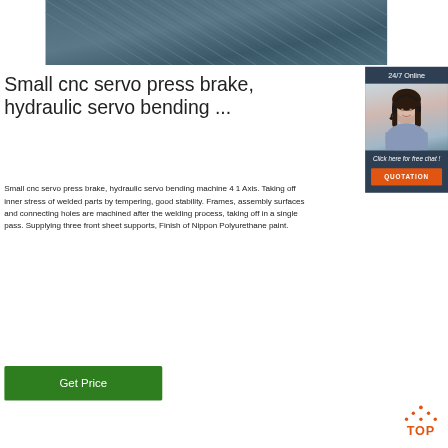[Figure (photo): Close-up photo of dark teal/grey pleated or corrugated material, likely metal or fabric, showing parallel ridges/lines diagonally.]
Small cnc servo press brake, hydraulic servo bending ...
[Figure (infographic): 24/7 Online chat widget sidebar with a woman wearing a headset, a 'Click here for free chat!' message, and an orange QUOTATION button on a dark navy background.]
Small cnc servo press brake, hydraulic servo bending machine 4 1 Axis. Taking off inner stress of welded parts by tempering, good stability. Frames, assembly surfaces and connecting holes are machined after the welding process, taking off in a single pass. Supplying three front sheet supports, Finish of Nippon Polyurethane paint.
[Figure (logo): Orange TOP logo with triangle/dots above the text 'TOP']
Get Price